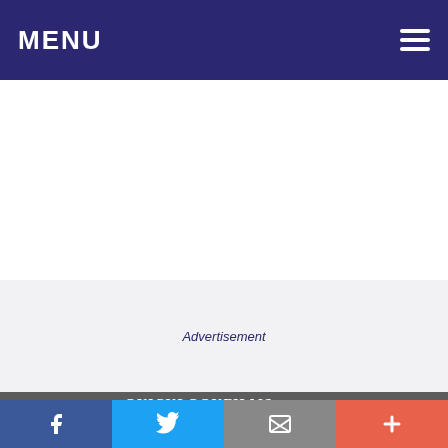MENU
[Figure (screenshot): White empty content area]
Advertisement
QUICKLOOKFILMS © 2022 HOME  MOVIES  SHOWTIMES  MOVIE NEWS  MOVIE REVIEWS  FACEBOOK  TWITTER  IN THEATRES  COMING SOON